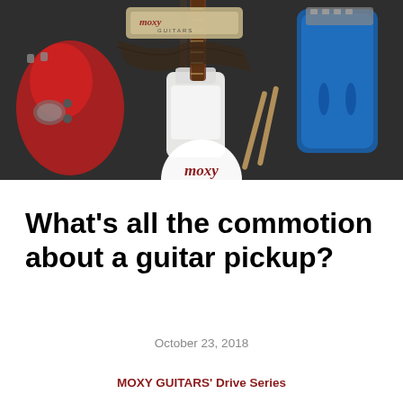[Figure (photo): Top-down photograph of multiple electric guitars on a dark surface, including a red guitar on the left, a white guitar in the center, and a blue guitar on the right, along with a Moxy Guitars case/strap and other guitar accessories. A Moxy Guitars circular logo overlays the bottom center of the image.]
What's all the commotion about a guitar pickup?
October 23, 2018
MOXY GUITARS' Drive Series